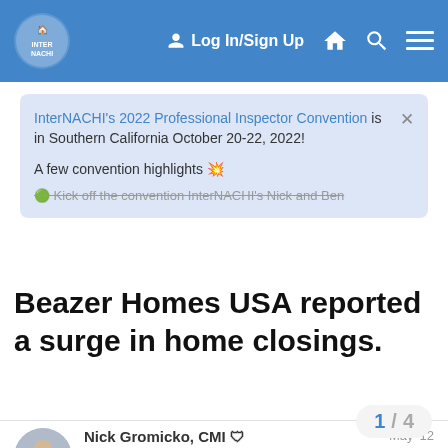Log In/Sign Up
InterNACHI's 2022 Professional Inspector Convention is in Southern California October 20-22, 2022!

A few convention highlights 💥

Kick off the convention InterNACHI's Nick and Ben
Beazer Homes USA reported a surge in home closings.
Nick Gromicko, CMI 🛡
gromicko
Certified Master Inspector
May '12
According to a Wall Street Journal article, Beazer Homes USA Inc. reported a surge in home closings and sounded a hopeful note for the months ahead. The Atlanta-ba[sed] [one of] the largest home builders in the US, said i[t] 59% in the latest period to 844 homes. No[…]
1 / 4